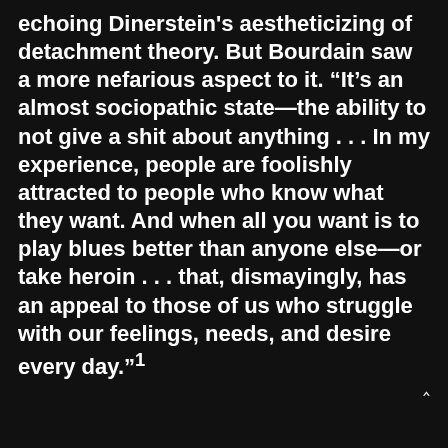echoing Dinerstein's aestheticizing of detachment theory. But Bourdain saw a more nefarious aspect to it. “It’s an almost sociopathic state—the ability to not give a shit about anything . . . In my experience, people are foolishly attracted to people who know what they want. And when all you want is to play blues better than anyone else—or take heroin . . . that, dismayingly, has an appeal to those of us who struggle with our feelings, needs, and desire every day.”¹